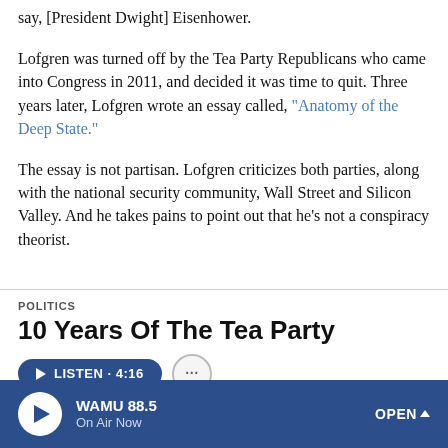say, [President Dwight] Eisenhower.
Lofgren was turned off by the Tea Party Republicans who came into Congress in 2011, and decided it was time to quit. Three years later, Lofgren wrote an essay called, "Anatomy of the Deep State."
The essay is not partisan. Lofgren criticizes both parties, along with the national security community, Wall Street and Silicon Valley. And he takes pains to point out that he's not a conspiracy theorist.
POLITICS
10 Years Of The Tea Party
LISTEN · 4:16
WAMU 88.5  On Air Now  OPEN